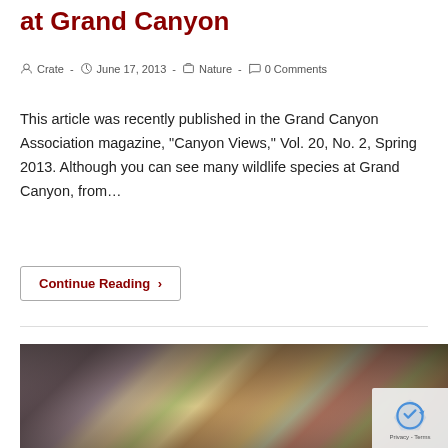at Grand Canyon
Crate  -  June 17, 2013  -  Nature  -  0 Comments
This article was recently published in the Grand Canyon Association magazine, "Canyon Views," Vol. 20, No. 2, Spring 2013. Although you can see many wildlife species at Grand Canyon, from…
Continue Reading ›
[Figure (photo): A bowl of mixed salad with cashews, cranberries, broccoli, and other vegetables and toppings on a purple background]